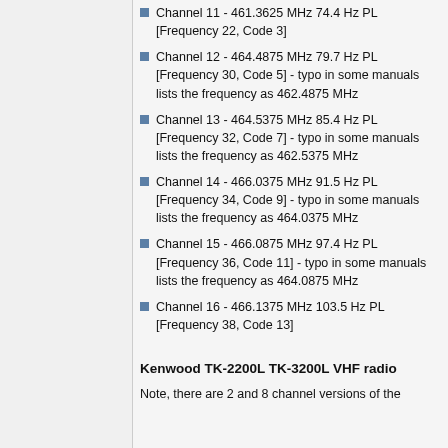Channel 11 - 461.3625 MHz 74.4 Hz PL [Frequency 22, Code 3]
Channel 12 - 464.4875 MHz 79.7 Hz PL [Frequency 30, Code 5] - typo in some manuals lists the frequency as 462.4875 MHz
Channel 13 - 464.5375 MHz 85.4 Hz PL [Frequency 32, Code 7] - typo in some manuals lists the frequency as 462.5375 MHz
Channel 14 - 466.0375 MHz 91.5 Hz PL [Frequency 34, Code 9] - typo in some manuals lists the frequency as 464.0375 MHz
Channel 15 - 466.0875 MHz 97.4 Hz PL [Frequency 36, Code 11] - typo in some manuals lists the frequency as 464.0875 MHz
Channel 16 - 466.1375 MHz 103.5 Hz PL [Frequency 38, Code 13]
Kenwood TK-2200L TK-3200L VHF radio
Note, there are 2 and 8 channel versions of the